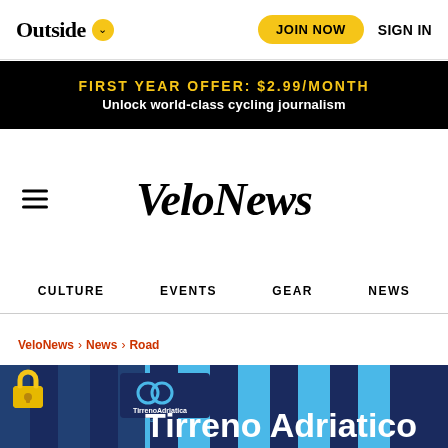Outside ∨ | JOIN NOW | SIGN IN
FIRST YEAR OFFER: $2.99/MONTH
Unlock world-class cycling journalism
VeloNews
CULTURE  EVENTS  GEAR  NEWS
VeloNews > News > Road
[Figure (photo): Tirreno Adriatico race signage/banner in blue and dark navy colors with 'Tirreno Adriatica' text visible, with a lock icon overlay indicating paywalled content]